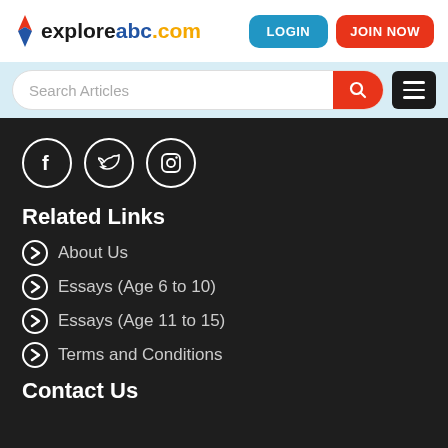exploreABC.com — LOGIN | JOIN NOW
[Figure (screenshot): Search bar with Search Articles placeholder, red search button, and black hamburger menu button]
[Figure (illustration): Social media icons: Facebook, Twitter, Instagram in white circles on dark background]
Related Links
About Us
Essays (Age 6 to 10)
Essays (Age 11 to 15)
Terms and Conditions
Contact Us